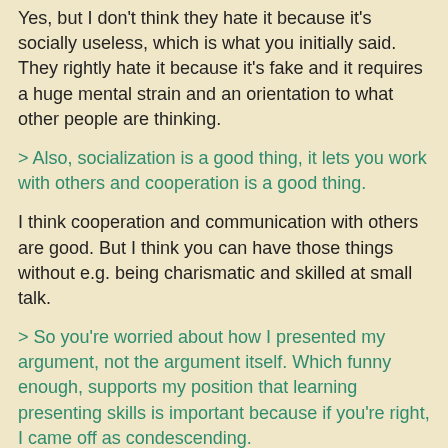Yes, but I don't think they hate it because it's socially useless, which is what you initially said. They rightly hate it because it's fake and it requires a huge mental strain and an orientation to what other people are thinking.
> Also, socialization is a good thing, it lets you work with others and cooperation is a good thing.
I think cooperation and communication with others are good. But I think you can have those things without e.g. being charismatic and skilled at small talk.
> So you're worried about how I presented my argument, not the argument itself. Which funny enough, supports my position that learning presenting skills is important because if you're right, I came off as condescending.
If I'm right, you came off as condescending and you didn't consciously know that you were doing that. Subconsciously, *you were considering factors other than the argument itself* in choosing which words to write.
This is different than someone who only cares about the content of his argument and his ability to state it clearly to other truth-seeking minds, and as a result he doesn't make a socially-appropriate amount of eye contact during his presentation. Here his mind is in the right